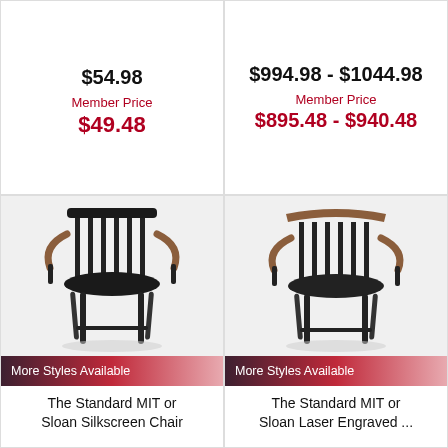$54.98
Member Price
$49.48
$994.98 - $1044.98
Member Price
$895.48 - $940.48
[Figure (photo): Black Windsor captain's chair with tan wood armrests and spindle back, MIT or Sloan silkscreen design]
More Styles Available
The Standard MIT or Sloan Silkscreen Chair
[Figure (photo): Black Windsor captain's chair with tan wood armrests and spindle back, MIT or Sloan laser engraved design]
More Styles Available
The Standard MIT or Sloan Laser Engraved ...